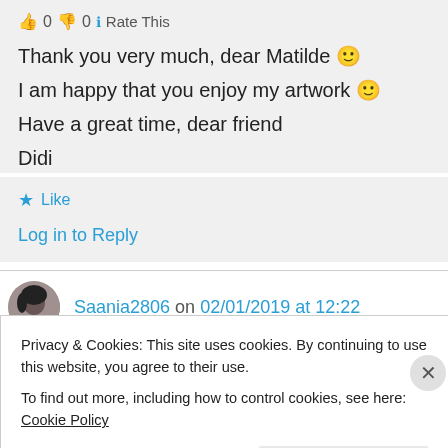👍 0 👎 0 ℹ Rate This
Thank you very much, dear Matilde 🙂
I am happy that you enjoy my artwork 🙂
Have a great time, dear friend
Didi
★ Like
Log in to Reply
Saania2806 on 02/01/2019 at 12:22
Privacy & Cookies: This site uses cookies. By continuing to use this website, you agree to their use.
To find out more, including how to control cookies, see here: Cookie Policy
Close and accept